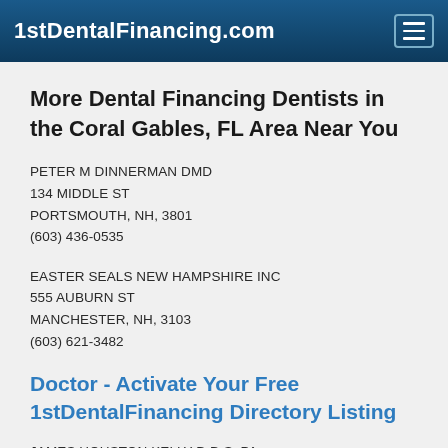1stDentalFinancing.com
More Dental Financing Dentists in the Coral Gables, FL Area Near You
PETER M DINNERMAN DMD
134 MIDDLE ST
PORTSMOUTH, NH, 3801
(603) 436-0535
EASTER SEALS NEW HAMPSHIRE INC
555 AUBURN ST
MANCHESTER, NH, 3103
(603) 621-3482
Doctor - Activate Your Free 1stDentalFinancing Directory Listing
JAMES HOUSTON KELLY D.D.S. PA
1725 S NEW HOPE RD